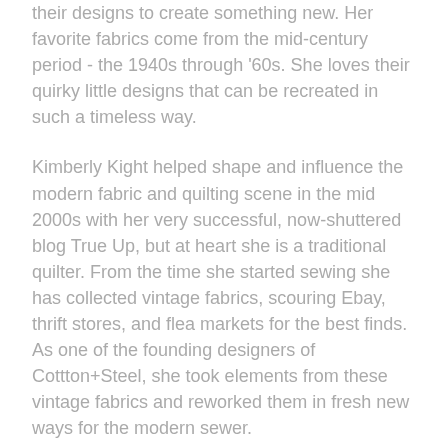their designs to create something new. Her favorite fabrics come from the mid-century period - the 1940s through '60s. She loves their quirky little designs that can be recreated in such a timeless way.
Kimberly Kight helped shape and influence the modern fabric and quilting scene in the mid 2000s with her very successful, now-shuttered blog True Up, but at heart she is a traditional quilter. From the time she started sewing she has collected vintage fabrics, scouring Ebay, thrift stores, and flea markets for the best finds. As one of the founding designers of Cottton+Steel, she took elements from these vintage fabrics and reworked them in fresh new ways for the modern sewer.
Imagine a sweet town where life moves at a slower pace, where inhabitants putter around their gardens and visit eat other on the porch, where friends play parlor games and dawdle on their way home. That's what Kimberly Kight envisioned with Tarry Town, not knowing when she designed it that it would be rather